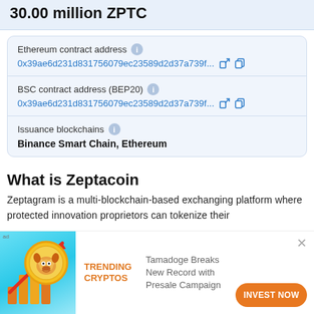30.00 million ZPTC
Ethereum contract address  i
0x39ae6d231d831756079ec23589d2d37a739f...
BSC contract address (BEP20)  i
0x39ae6d231d831756079ec23589d2d37a739f...
Issuance blockchains  i
Binance Smart Chain, Ethereum
What is Zeptacoin
Zeptagram is a multi-blockchain-based exchanging platform where protected innovation proprietors can tokenize their
[Figure (infographic): Advertisement banner showing a dog coin with bar chart and upward arrow arrow on teal background, with TRENDING CRYPTOS text and Tamadoge Breaks New Record with Presale Campaign and INVEST NOW button]